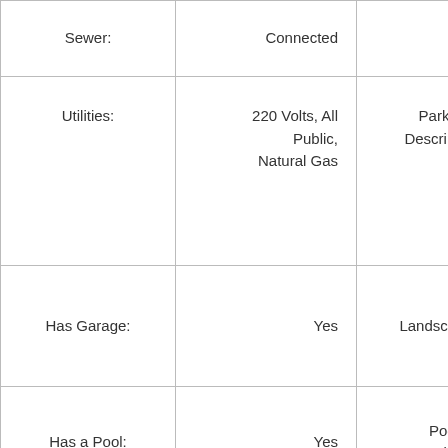| Sewer: | Connected |  | 1 Ca... |
| Utilities: | 220 Volts, All Public, Natural Gas | Parking Description: | 1 Ca... Att... Gara... |
| Has Garage: | Yes | Landscaping: | Ba... Fron... |
| Has a Pool: | Yes | Pool Description: |  |
| Is a Horse Property: | No | Exposure Faces: |  |